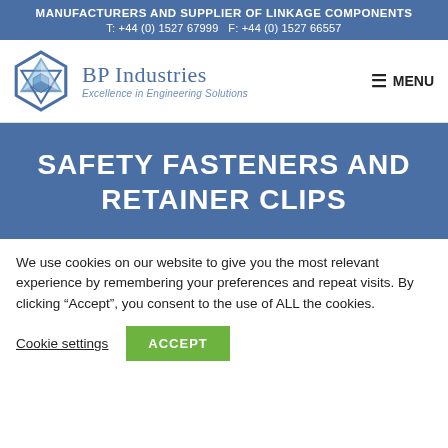MANUFACTURERS AND SUPPLIER OF LINKAGE COMPONENTS
T: +44 (0) 1527 67999   F: +44 (0) 1527 66557
[Figure (logo): BP Industries hexagonal interlocking triangle logo with company name and tagline 'Excellence in Engineering Solutions']
SAFETY FASTENERS AND RETAINER CLIPS
We use cookies on our website to give you the most relevant experience by remembering your preferences and repeat visits. By clicking “Accept”, you consent to the use of ALL the cookies.
Cookie settings   ACCEPT